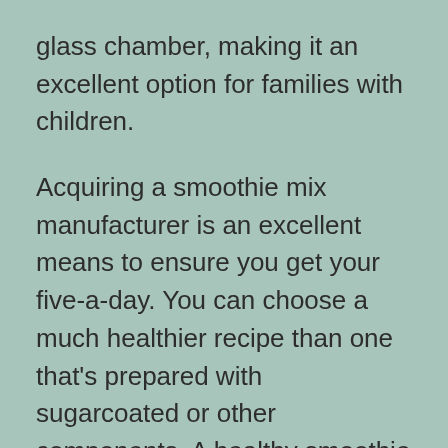glass chamber, making it an excellent option for families with children.
Acquiring a smoothie mix manufacturer is an excellent means to ensure you get your five-a-day. You can choose a much healthier recipe than one that's prepared with sugarcoated or other components. A healthy smoothie maker likewise makes it simple to control the active ingredients, that makes them optimal for busy way of livings. Along with being mobile, a blender is a clever financial investment, as it is a multi-tasker. Along with making drinks with the right combination of minerals and vitamins